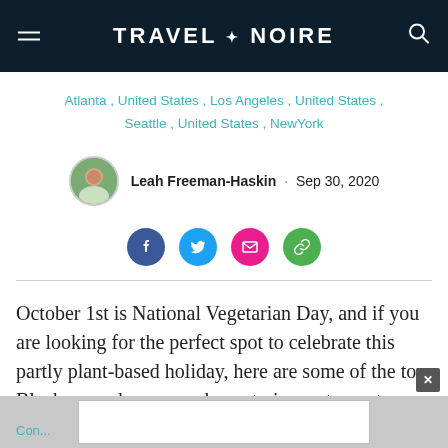TRAVEL + NOIRE
Atlanta , United States , Los Angeles , United States , Seattle , United States , NewYork
Leah Freeman-Haskin · Sep 30, 2020
[Figure (infographic): Social sharing buttons: Facebook (blue), Twitter (light blue), Email (pink/red), Link (green)]
October 1st is National Vegetarian Day, and if you are looking for the perfect spot to celebrate this partly plant-based holiday, here are some of the top Black-owned vegan and vegetarian restaurants across the country.